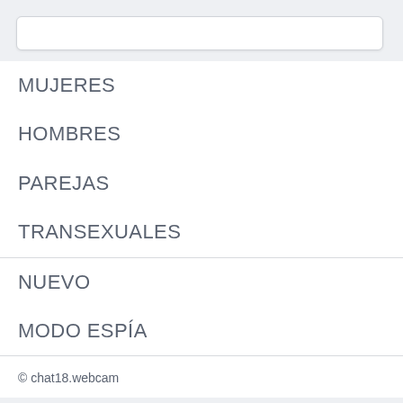[Figure (screenshot): Search input bar, white rounded rectangle on grey background]
MUJERES
HOMBRES
PAREJAS
TRANSEXUALES
NUEVO
MODO ESPÍA
© chat18.webcam